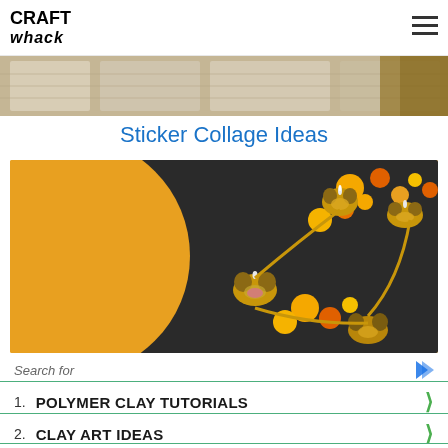CRAFT whack (logo) | hamburger menu
[Figure (photo): Top strip showing newspaper/comic pages laid out on a wooden surface]
Sticker Collage Ideas
[Figure (photo): Diwali diyas (oil lamps) with marigold flowers arranged in a circle on a dark background with orange backdrop]
Search for
1. POLYMER CLAY TUTORIALS
2. CLAY ART IDEAS
Yahoo! Search | Sponsored